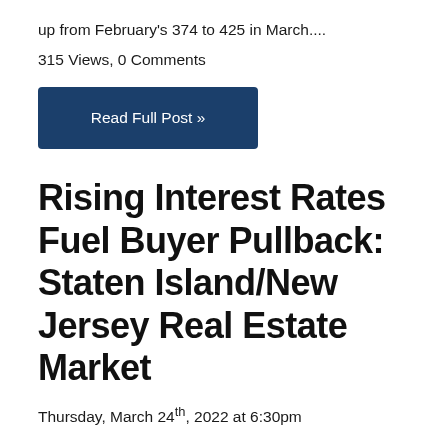up from February's 374 to 425 in March....
315 Views, 0 Comments
Read Full Post »
Rising Interest Rates Fuel Buyer Pullback: Staten Island/New Jersey Real Estate Market
Thursday, March 24th, 2022 at 6:30pm